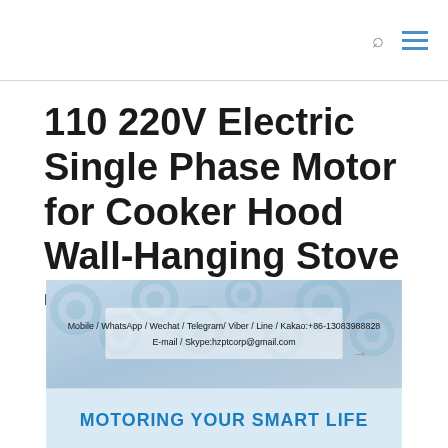110 220V Electric Single Phase Motor for Cooker Hood Wall-Hanging Stove
by ep | Dec 21, 2020 | Uncategorized
[Figure (photo): Product promotional image showing gears background with contact information: Mobile / WhatsApp / Wechat / Telegram / Viber / Line / Kakao:+86-13083988828, E-mail / Skype:hzptcorp@gmail.com, and banner text 'MOTORING YOUR SMART LIFE']